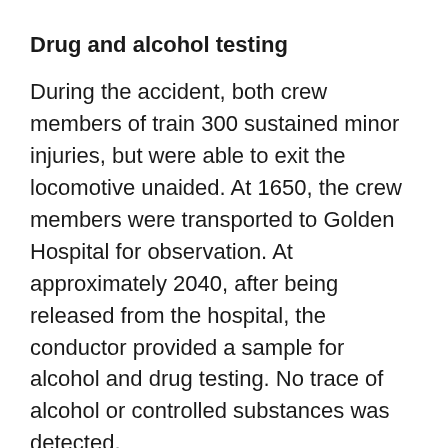Drug and alcohol testing
During the accident, both crew members of train 300 sustained minor injuries, but were able to exit the locomotive unaided. At 1650, the crew members were transported to Golden Hospital for observation. At approximately 2040, after being released from the hospital, the conductor provided a sample for alcohol and drug testing. No trace of alcohol or controlled substances was detected.
The locomotive engineer was very concerned that traces of marijuana may be